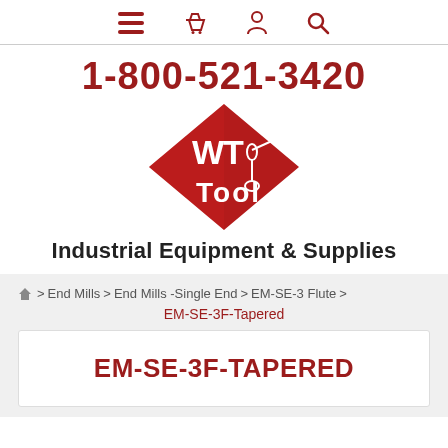[Figure (logo): Navigation bar with hamburger menu, shopping basket, user, and search icons in dark red]
1-800-521-3420
[Figure (logo): WT Tool logo: red diamond shape with white WT Tool lettering and tool icon]
Industrial Equipment & Supplies
Home > End Mills > End Mills -Single End > EM-SE-3 Flute > EM-SE-3F-Tapered
EM-SE-3F-TAPERED